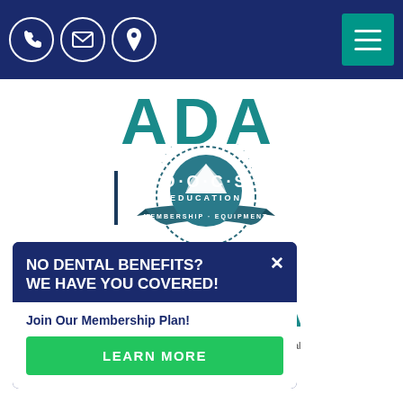[Figure (screenshot): Website page header navigation bar with teal hamburger menu icon on right and phone, email, location icons on left against dark navy background]
[Figure (logo): ADA logo in teal/blue letters]
[Figure (logo): DOCS Education logo - circular badge with mountain imagery, teal color, text reads DOCS EDUCATION MEMBERSHIP EQUIPMENT]
[Figure (logo): MSDA logo in teal letters with decorative underline]
service
Bay Area Dental
Privacy Policy
sitemap
[Figure (infographic): Modal popup with dark navy background header reading NO DENTAL BENEFITS? WE HAVE YOU COVERED! with white close X button, subtitle Join Our Membership Plan! and green LEARN MORE button]